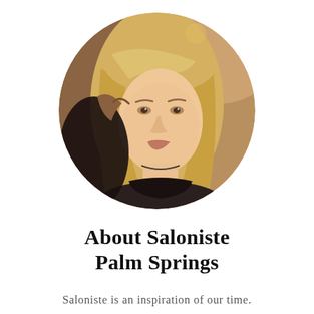[Figure (photo): Circular cropped photo of a young blonde woman with long straight hair in a salon setting, with someone styling her hair in the background.]
About Saloniste Palm Springs
Saloniste is an inspiration of our time.